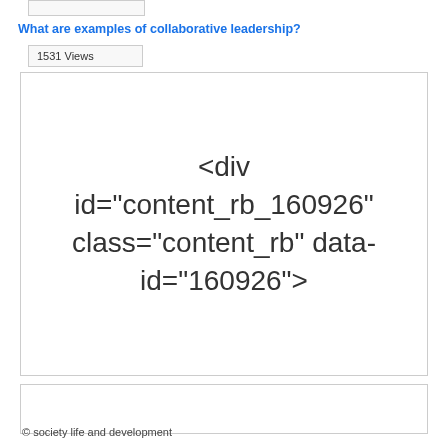What are examples of collaborative leadership?
1531 Views
<div id="content_rb_160926" class="content_rb" data-id="160926">
© society life and development